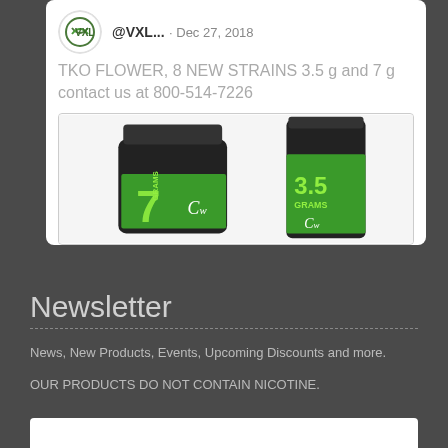[Figure (screenshot): Tweet from @VXL... dated Dec 27, 2018 with text 'TKO FLOWER, 8 NEW STRAINS 3.5 g and 7 g contact us at 800-514-7226' and product image showing two containers labeled 7 GRAMS and 3.5 GRAMS with green Cw branding on black background]
Newsletter
News, New Products, Events, Upcoming Discounts and more.
OUR PRODUCTS DO NOT CONTAIN NICOTINE.